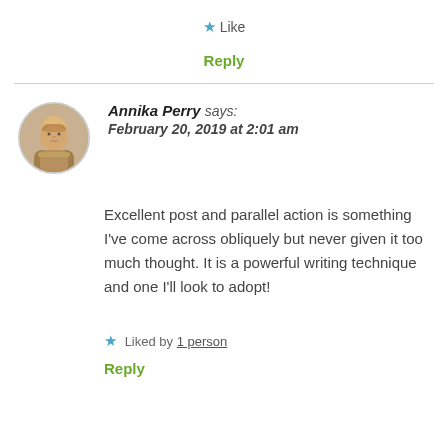★ Like
Reply
Annika Perry says: February 20, 2019 at 2:01 am
Excellent post and parallel action is something I've come across obliquely but never given it too much thought. It is a powerful writing technique and one I'll look to adopt!
★ Liked by 1 person
Reply